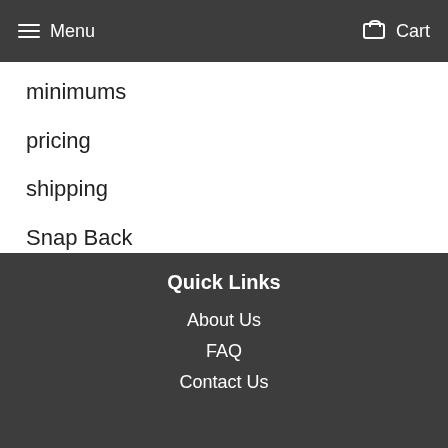Menu  Cart
minimums
pricing
shipping
Snap Back
threading
Velcro
Quick Links
About Us
FAQ
Contact Us